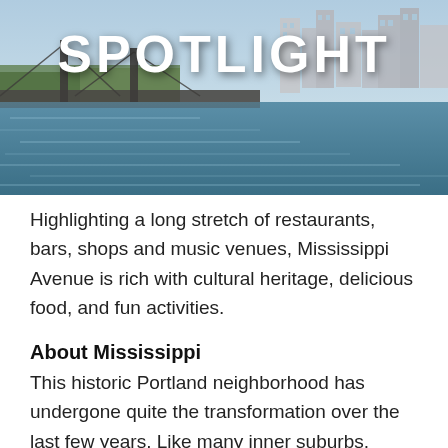[Figure (photo): City skyline and bridge over river with water reflection — header banner image with 'SPOTLIGHT' text overlaid in large white bold letters]
Highlighting a long stretch of restaurants, bars, shops and music venues, Mississippi Avenue is rich with cultural heritage, delicious food, and fun activities.
About Mississippi
This historic Portland neighborhood has undergone quite the transformation over the last few years. Like many inner suburbs, Mississippi experienced a steady decline in residents and businesses beginning in the 1950s. But then something amazing happened